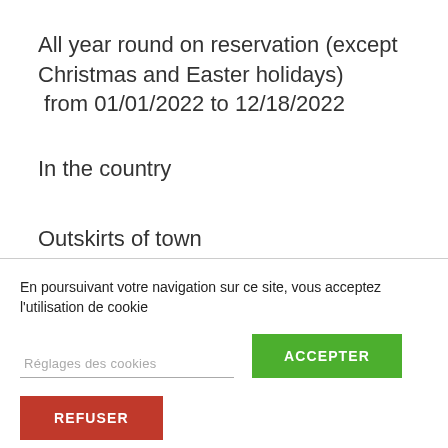All year round on reservation (except Christmas and Easter holidays) from 01/01/2022 to 12/18/2022
In the country
Outskirts of town
En poursuivant votre navigation sur ce site, vous acceptez l'utilisation de cookie
Réglages des cookies
ACCEPTER
REFUSER